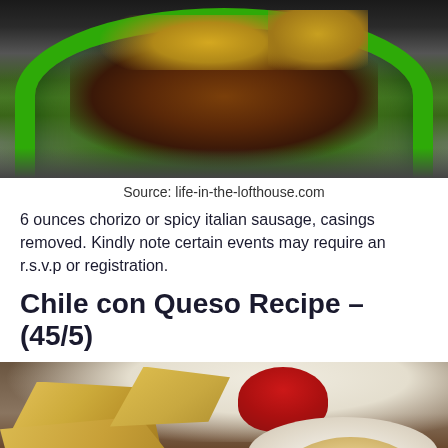[Figure (photo): Photo of nachos or taco salad in a green plate/bowl with meat, beans, and cheese toppings, viewed from above on a dark surface]
Source: life-in-the-lofthouse.com
6 ounces chorizo or spicy italian sausage, casings removed. Kindly note certain events may require an r.s.v.p or registration.
Chile con Queso Recipe – (45/5)
[Figure (photo): Photo of chile con queso dip in a white bowl with corn tortilla chips on the side, red object and herb garnish visible in background]